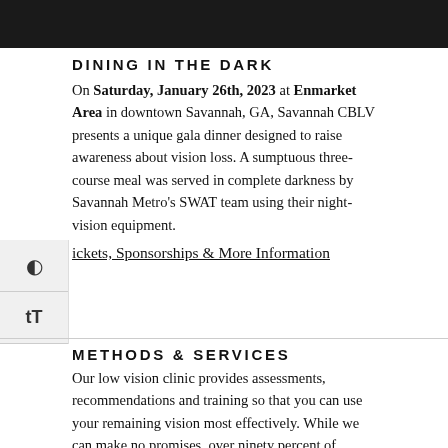[Figure (photo): Dark photograph banner at top of page]
DINING IN THE DARK
On Saturday, January 26th, 2023 at Enmarket Area in downtown Savannah, GA, Savannah CBLV presents a unique gala dinner designed to raise awareness about vision loss. A sumptuous three-course meal was served in complete darkness by Savannah Metro's SWAT team using their night-vision equipment.
Tickets, Sponsorships & More Information
METHODS & SERVICES
Our low vision clinic provides assessments, recommendations and training so that you can use your remaining vision most effectively. While we can make no promises, over ninety percent of people going through